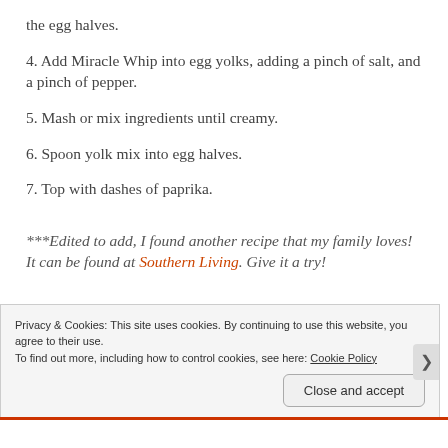the egg halves.
4. Add Miracle Whip into egg yolks, adding a pinch of salt, and a pinch of pepper.
5. Mash or mix ingredients until creamy.
6. Spoon yolk mix into egg halves.
7. Top with dashes of paprika.
***Edited to add, I found another recipe that my family loves! It can be found at Southern Living. Give it a try!
Privacy & Cookies: This site uses cookies. By continuing to use this website, you agree to their use.
To find out more, including how to control cookies, see here: Cookie Policy
Close and accept